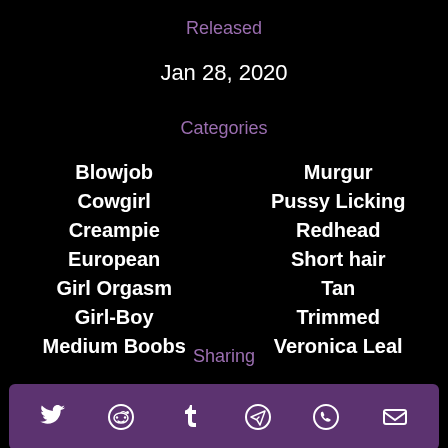Released
Jan 28, 2020
Categories
Blowjob
Cowgirl
Creampie
European
Girl Orgasm
Girl-Boy
Medium Boobs
Murgur
Pussy Licking
Redhead
Short hair
Tan
Trimmed
Veronica Leal
Sharing
[Figure (infographic): Sharing bar with social media icons: Twitter, Reddit, Tumblr, Telegram, WhatsApp, Email]